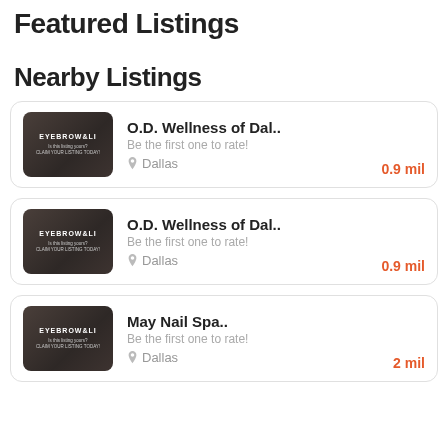Featured Listings
Nearby Listings
O.D. Wellness of Dal.. | Be the first one to rate! | Dallas | 0.9 mil
O.D. Wellness of Dal.. | Be the first one to rate! | Dallas | 0.9 mil
May Nail Spa.. | Be the first one to rate! | Dallas | 2 mil